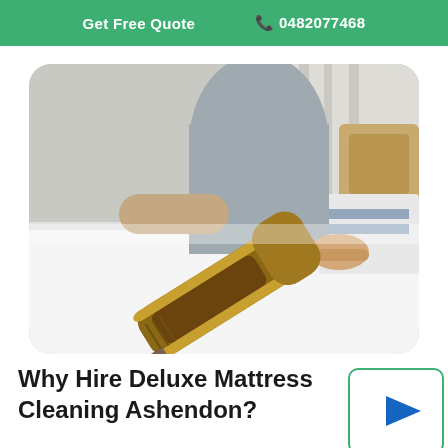Get Free Quote   0482077468
[Figure (photo): Person using a handheld vacuum cleaner to clean a white mattress on a bed, with curtains in the background]
Why Hire Deluxe Mattress Cleaning Ashendon?